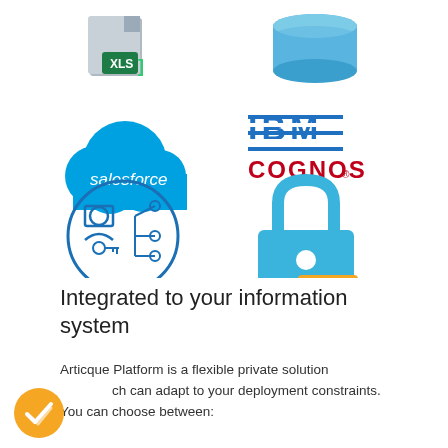[Figure (infographic): Six integration logos in a 2-column grid: Excel/XLS icon (top-left), Database cylinder icon (top-right), Salesforce cloud logo (middle-left), IBM Cognos logo (middle-right), LDAP directory icon in circle (bottom-left), SAML padlock icon (bottom-right).]
Integrated to your information system
Articque Platform is a flexible private solution which can adapt to your deployment constraints. You can choose between: